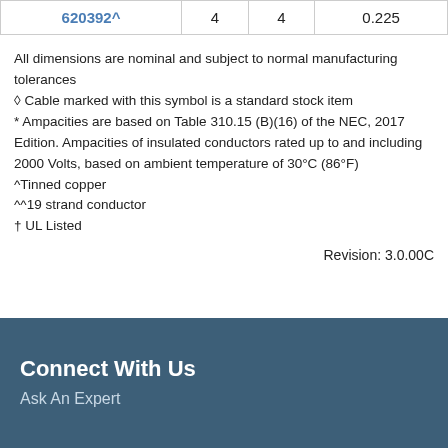| 620392^ | 4 | 4 | 0.225 |
All dimensions are nominal and subject to normal manufacturing tolerances
◊ Cable marked with this symbol is a standard stock item
* Ampacities are based on Table 310.15 (B)(16) of the NEC, 2017 Edition. Ampacities of insulated conductors rated up to and including 2000 Volts, based on ambient temperature of 30°C (86°F)
^Tinned copper
^^19 strand conductor
† UL Listed
Revision: 3.0.00C
Connect With Us
Ask An Expert